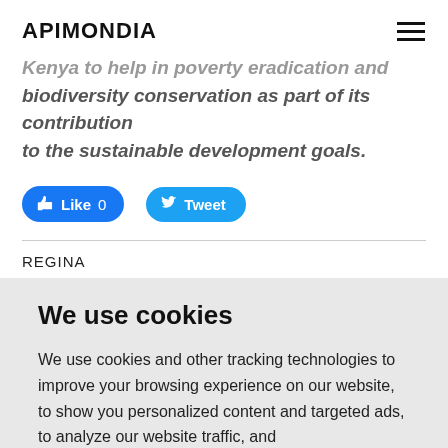APIMONDIA
Kenya to help in poverty eradication and biodiversity conservation as part of its contribution to the sustainable development goals.
[Figure (other): Social media buttons: Facebook Like (0) and Twitter Tweet]
REGINA
We use cookies
We use cookies and other tracking technologies to improve your browsing experience on our website, to show you personalized content and targeted ads, to analyze our website traffic, and